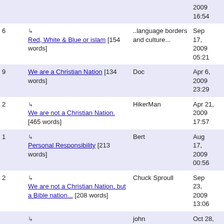| Replies | Topic | Author | Date |
| --- | --- | --- | --- |
|  |  |  | 2009 16:54 |
| 6 | ↳ Red, White & Blue or islam [154 words] | ..language borders and culture... | Sep 17, 2009 05:21 |
| 9 | We are a Christian Nation [134 words] | Doc | Apr 6, 2009 23:29 |
| 2 | ↳ We are not a Christian Nation. [465 words] | HikerMan | Apr 21, 2009 17:57 |
| 1 | ↳ Personal Responsibility [213 words] | Bert | Aug 17, 2009 00:56 |
| 2 | ↳ We are not a Christian Nation, but a Bible nation... [208 words] | Chuck Sproull | Sep 23, 2009 13:06 |
|  | ↳ america land of the free [112 words] | john | Oct 28, 2009 18:53 |
| 1 | Face the truth [44 words] | arsalan taj | Feb 14, 2009 00:59 |